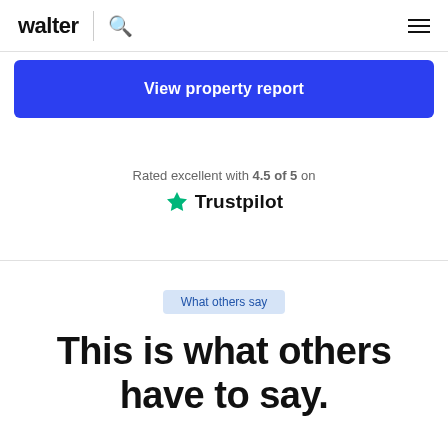walter
View property report
Rated excellent with 4.5 of 5 on Trustpilot
What others say
This is what others have to say.